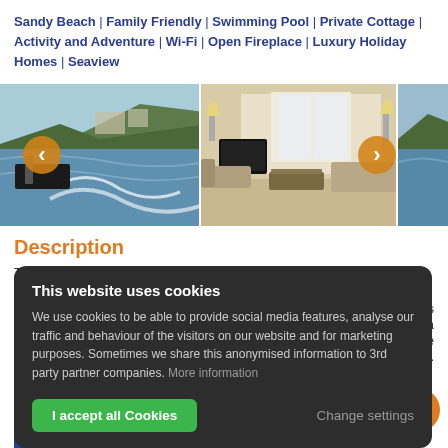Sandy Beach | Family Friendly | Swimming Pool | Private Cottage | Activity and Adventure | Wi-Fi | Open Fireplace | Luxury Holiday Homes | Seaview
[Figure (photo): Three horizontally arranged holiday property photos: a speedboat on water with coastal hillside backdrop, a bright living room interior with sofas and TV, and a partial coastal landscape view. Navigation arrows overlaid.]
Description
This website uses cookies
We use cookies to be able to provide social media features, analyse our traffic and behaviour of the visitors on our website and for marketing purposes. Sometimes we share this anonymised information to 3rd party partner companies. More information
I accept all Cookies
Change settings